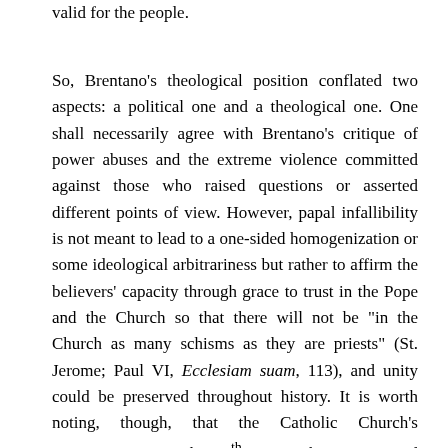valid for the people.
So, Brentano's theological position conflated two aspects: a political one and a theological one. One shall necessarily agree with Brentano's critique of power abuses and the extreme violence committed against those who raised questions or asserted different points of view. However, papal infallibility is not meant to lead to a one-sided homogenization or some ideological arbitrariness but rather to affirm the believers' capacity through grace to trust in the Pope and the Church so that there will not be “in the Church as many schisms as they are priests” (St. Jerome; Paul VI, Ecclesiam suam, 113), and unity could be preserved throughout history. It is worth noting, though, that the Catholic Church’s aggiornamento in the 20th century has encouraged dialogue with humanities and sciences to make progress in understanding the world and people.